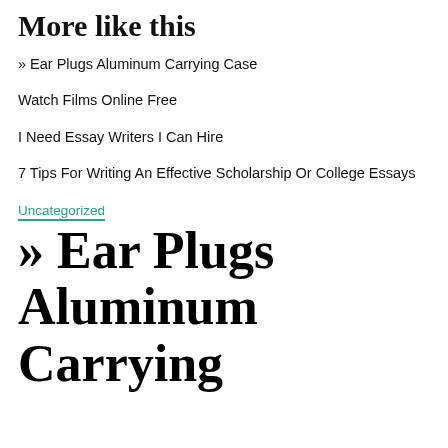More like this
» Ear Plugs Aluminum Carrying Case
Watch Films Online Free
I Need Essay Writers I Can Hire
7 Tips For Writing An Effective Scholarship Or College Essays
Uncategorized
» Ear Plugs Aluminum Carrying